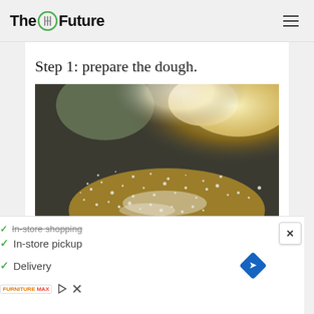The Future
Step 1: prepare the dough.
[Figure (photo): Close-up photo of flour dusted on a metal surface with warm backlighting]
In-store shopping (strikethrough), In-store pickup, Delivery — advertisement overlay with navigation icon